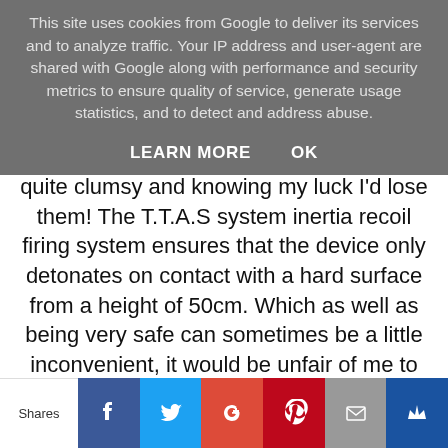This site uses cookies from Google to deliver its services and to analyze traffic. Your IP address and user-agent are shared with Google along with performance and security metrics to ensure quality of service, generate usage statistics, and to detect and address abuse.
LEARN MORE    OK
quite clumsy and knowing my luck I'd lose them! The T.T.A.S system inertia recoil firing system ensures that the device only detonates on contact with a hard surface from a height of 50cm. Which as well as being very safe can sometimes be a little inconvenient, it would be unfair of me to write this review without recognising the fact that sometimes the firing system isn't struck right and the TRMR doesn't go off. It doesn't happen often, but it does happen. I'd say about 1/20 throws. I thought it had happened to me the last game I played but it turned out
Shares